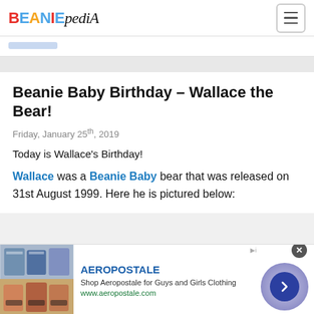BEANIEPEDIA
Today is Wallace's Birthday!
Beanie Baby Birthday – Wallace the Bear!
Friday, January 25th, 2019
Today is Wallace's Birthday!
Wallace was a Beanie Baby bear that was released on 31st August 1999. Here he is pictured below:
[Figure (screenshot): Advertisement banner for Aeropostale showing clothing images, brand name, description and website URL with navigation arrow]